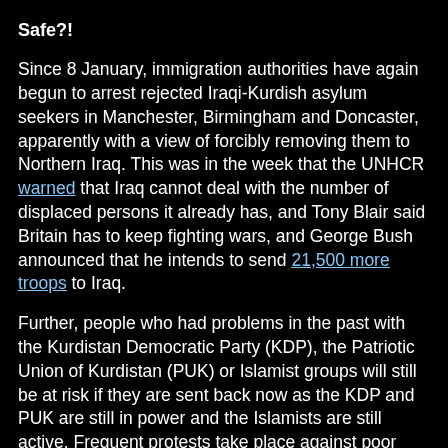Safe?!
Since 8 January, immigration authorities have again begun to arrest rejected Iraqi-Kurdish asylum seekers in Manchester, Birmingham and Doncaster, apparently with a view of forcibly removing them to Northern Iraq. This was in the week that the UNHCR warned that Iraq cannot deal with the number of displaced persons it already has, and Tony Blair said Britain has to keep fighting wars, and George Bush announced that he intends to send 21,500 more troops to Iraq.
Further, people who had problems in the past with the Kurdistan Democratic Party (KDP), the Patriotic Union of Kurdistan (PUK) or Islamist groups will still be at risk if they are sent back now as the KDP and PUK are still in power and the Islamists are still active. Frequent protests take place against poor living conditions and the corruption and incompetence of the authorities, and they are often met with violence and mass arrests.
'Operational Security'